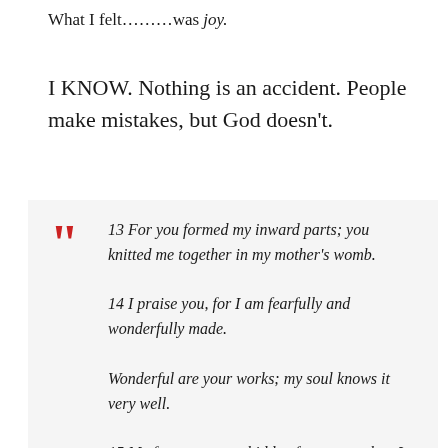What I felt………was joy.
I KNOW. Nothing is an accident. People make mistakes, but God doesn't.
13 For you formed my inward parts; you knitted me together in my mother's womb. 14 I praise you, for I am fearfully and wonderfully made. Wonderful are your works; my soul knows it very well. 15 My frame was not hidden from you, when I was being made in secret, intricately woven in the depths of the